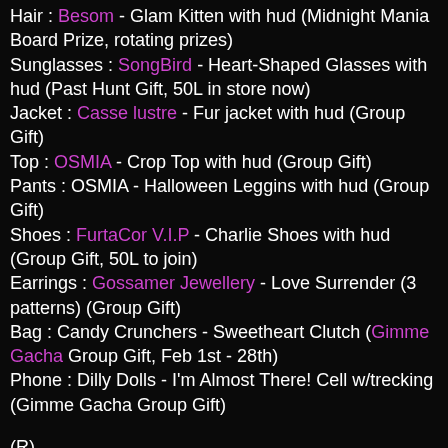Hair : Besom - Glam Kitten with hud (Midnight Mania Board Prize, rotating prizes)
Sunglasses : SongBird - Heart-Shaped Glasses with hud (Past Hunt Gift, 50L in store now)
Jacket : Casse lustre - Fur jacket with hud (Group Gift)
Top : OSMIA - Crop Top with hud (Group Gift)
Pants : OSMIA - Halloween Leggins with hud (Group Gift)
Shoes : FurtaCor V.I.P - Charlie Shoes with hud (Group Gift, 50L to join)
Earrings : Gossamer Jewellery - Love Surrender (3 patterns) (Group Gift)
Bag : Candy Crunchers - Sweetheart Clutch (Gimme Gacha Group Gift, Feb 1st - 28th)
Phone : Dilly Dolls - I'm Almost There! Cell w/trecking (Gimme Gacha Group Gift)
(R)
Hair : Besom - Gypsy Love with hud (Midnight Mania Board Prize, rotating prizes)
Sunglasses : Bauhaus Movement - Synthetic Rebellion Glasses (L'Homme Magazine SL Readers Group Gift)
Hoodie : Yasum Designs - Plush Hoodie Fatpack *Maitreya*